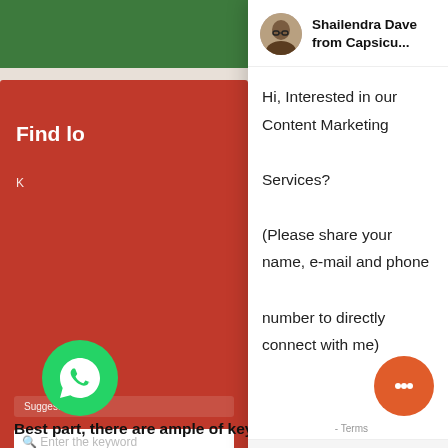[Figure (screenshot): Screenshot of a webpage showing a keyword research tool with a red card section with 'Find lo...' text and a search bar, overlaid by a chat widget from Shailendra Dave of Capsicu asking about Content Marketing Services]
Shailendra Dave from Capsicu...
Hi, Interested in our Content Marketing Services? (Please share your name, e-mail and phone number to directly connect with me)
Type your message
While doing attention to organic competition/difficulty. It is also important to find the LSI throughout ... relevant results to users and to improve your content rea...
Best part, there are ample of keyword resea...